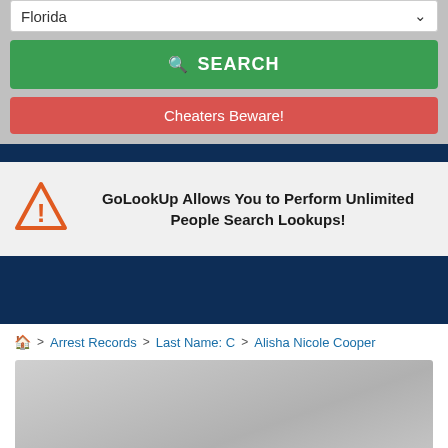Florida
SEARCH
Cheaters Beware!
GoLookUp Allows You to Perform Unlimited People Search Lookups!
🏠 > Arrest Records > Last Name: C > Alisha Nicole Cooper
[Figure (photo): Gray placeholder image area below breadcrumb]